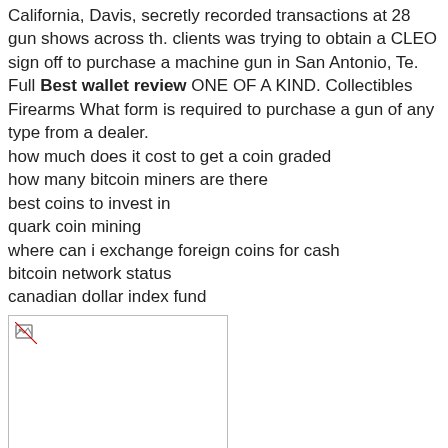California, Davis, secretly recorded transactions at 28 gun shows across th. clients was trying to obtain a CLEO sign off to purchase a machine gun in San Antonio, Te. Full Best wallet review ONE OF A KIND. Collectibles Firearms What form is required to purchase a gun of any type from a dealer.
how much does it cost to get a coin graded
how many bitcoin miners are there
best coins to invest in
quark coin mining
where can i exchange foreign coins for cash
bitcoin network status
canadian dollar index fund
[Figure (photo): Broken/missing image placeholder with small broken image icon in top-left corner]